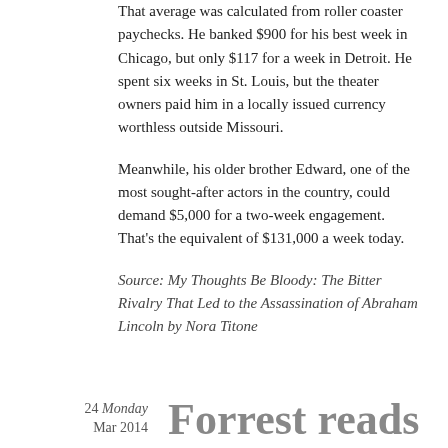That average was calculated from roller coaster paychecks. He banked $900 for his best week in Chicago, but only $117 for a week in Detroit. He spent six weeks in St. Louis, but the theater owners paid him in a locally issued currency worthless outside Missouri.
Meanwhile, his older brother Edward, one of the most sought-after actors in the country, could demand $5,000 for a two-week engagement. That's the equivalent of $131,000 a week today.
Source: My Thoughts Be Bloody: The Bitter Rivalry That Led to the Assassination of Abraham Lincoln by Nora Titone
24 Monday Mar 2014
Forrest reads newspaper